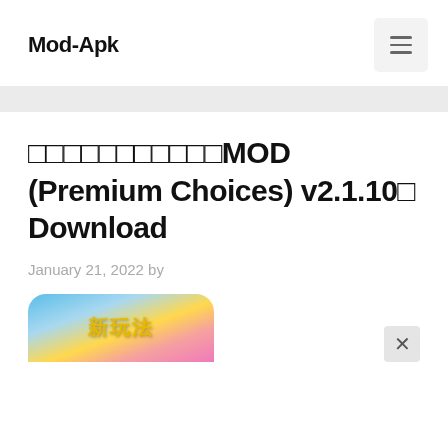Mod-Apk
□□□□□□□□□□□MOD (Premium Choices) v2.1.10□ Download
January 21, 2022 by
[Figure (photo): App icon/screenshot showing colorful cartoon game art with Chinese characters, partially visible at bottom of page]